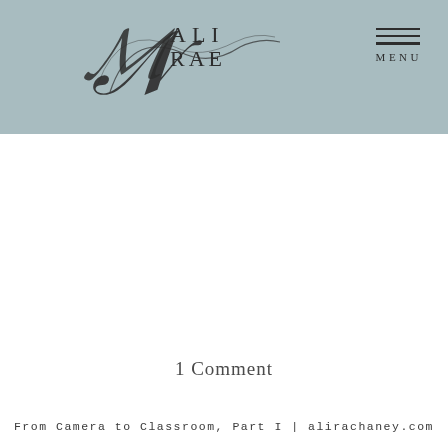Ali Rae [logo with stylized script] MENU
[Figure (logo): Ali Rae photography logo with stylized cursive script overlaying the text ALI RAE in serif capitals]
1 Comment
From Camera to Classroom, Part I | alirachaney.com